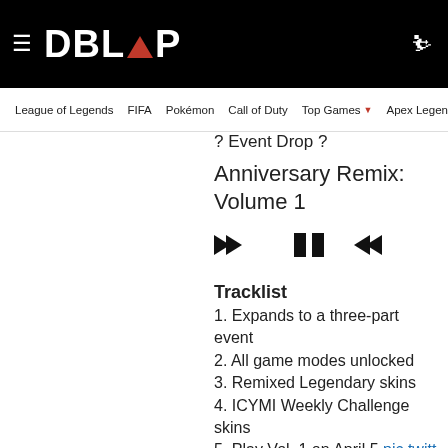DBLTAP — League of Legends | FIFA | Pokémon | Call of Duty | Top Games | Apex Legends | Overwatch
? Event Drop ?
Anniversary Remix: Volume 1
[Figure (other): Media player controls: rewind, pause, fast-forward buttons]
Tracklist
1. Expands to a three-part event
2. All game modes unlocked
3. Remixed Legendary skins
4. ICYMI Weekly Challenge skins
5. Play Vol. 1 on April 5 pic.twitter.com/IkUdSR1gRl
— OVERWATCH (@PlayOverwatch) March 31, 2022